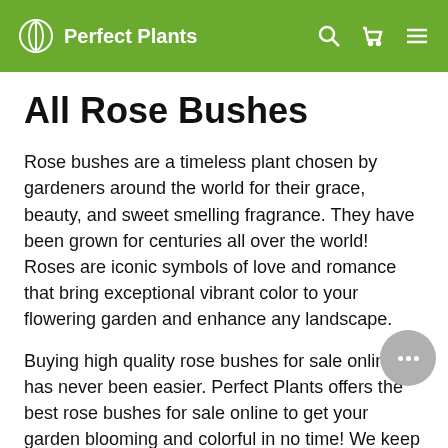Perfect Plants
All Rose Bushes
Rose bushes are a timeless plant chosen by gardeners around the world for their grace, beauty, and sweet smelling fragrance. They have been grown for centuries all over the world! Roses are iconic symbols of love and romance that bring exceptional vibrant color to your flowering garden and enhance any landscape.
Buying high quality rose bushes for sale online has never been easier. Perfect Plants offers the best rose bushes for sale online to get your garden blooming and colorful in no time! We keep a  variety of rose bushes and plants in stock to choose from, including Drift and
Knock Out roses, two of the most popular and well-liked